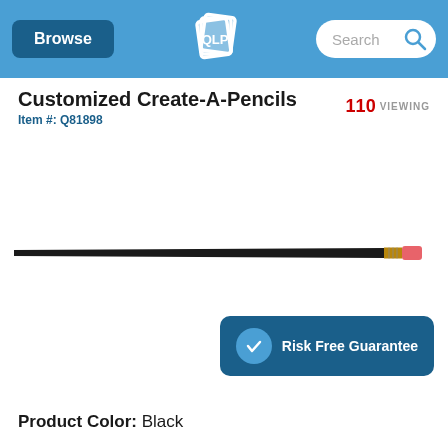Browse | QLP Logo | Search
Customized Create-A-Pencils
Item #: Q81898
110 VIEWING
[Figure (photo): A black pencil with gold ferrule and pink eraser, shown horizontally against a white background.]
Risk Free Guarantee
Product Color: Black